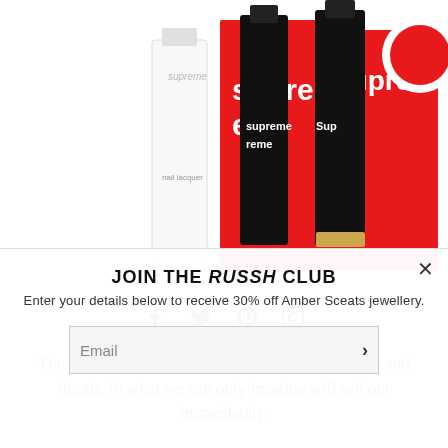[Figure (photo): Product photo showing Supreme x nail polish collaboration items including white and black nail polish bottles with Supreme branding and a red Supreme box with white logo]
[Figure (infographic): Social media share icons: Facebook, Twitter, Pinterest, Instagram]
The collaboration includes a range of nail polishes and decals, in what we can only imagine will sell out immediately.
JOIN THE RUSSH CLUB
Enter your details below to receive 30% off Amber Sceats jewellery.
Email